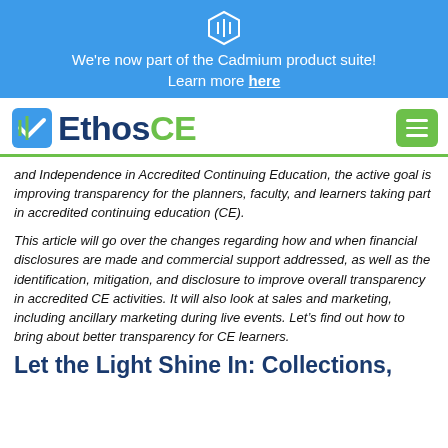We're now part of the Cadmium product suite! Learn more here
[Figure (logo): EthosCE logo with stylized checkmark icon in blue and green]
and Independence in Accredited Continuing Education, the active goal is improving transparency for the planners, faculty, and learners taking part in accredited continuing education (CE).
This article will go over the changes regarding how and when financial disclosures are made and commercial support addressed, as well as the identification, mitigation, and disclosure to improve overall transparency in accredited CE activities. It will also look at sales and marketing, including ancillary marketing during live events. Let’s find out how to bring about better transparency for CE learners.
Let the Light Shine In: Collections,